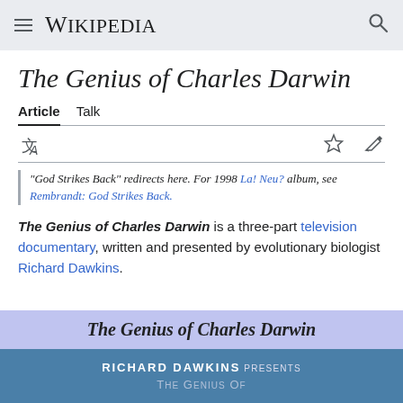Wikipedia
The Genius of Charles Darwin
Article  Talk
"God Strikes Back" redirects here. For 1998 La! Neu? album, see Rembrandt: God Strikes Back.
The Genius of Charles Darwin is a three-part television documentary, written and presented by evolutionary biologist Richard Dawkins.
[Figure (other): Infobox header for The Genius of Charles Darwin with blue background showing 'RICHARD DAWKINS PRESENTS' text]